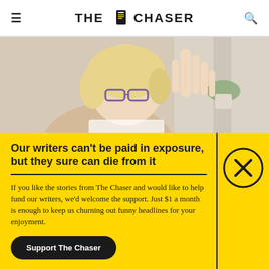THE CHASER
[Figure (photo): Middle-aged woman with blonde hair and purple glasses raising her hand as if to stop or refuse something, with a plant in the background]
Our writers can't be paid in exposure, but they sure can die from it
If you like the stories from The Chaser and would like to help fund our writers, we'd welcome the support. Just $1 a month is enough to keep us churning out funny headlines for your enjoyment.
Support The Chaser
Sick of this popup? Click here to never see this again.